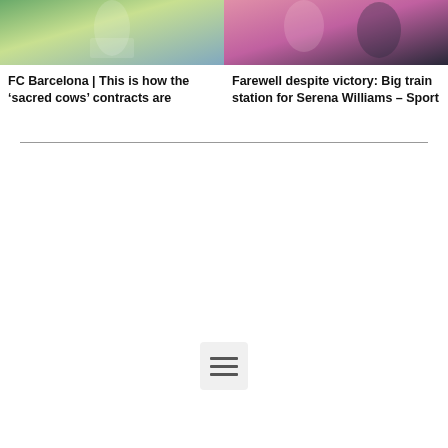[Figure (photo): Sports photo - FC Barcelona, player on field with green grass background]
[Figure (photo): Sports photo - Serena Williams farewell, woman in pink with people around her]
FC Barcelona | This is how the ‘sacred cows’ contracts are
Farewell despite victory: Big train station for Serena Williams – Sport
[Figure (other): Hamburger menu icon button with three horizontal lines on light gray background]